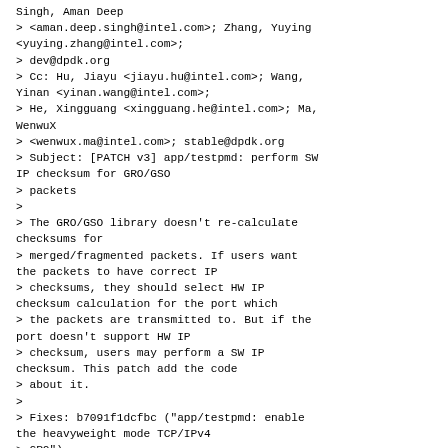Singh, Aman Deep
> <aman.deep.singh@intel.com>; Zhang, Yuying <yuying.zhang@intel.com>;
> dev@dpdk.org
> Cc: Hu, Jiayu <jiayu.hu@intel.com>; Wang, Yinan <yinan.wang@intel.com>;
> He, Xingguang <xingguang.he@intel.com>; Ma, WenwuX
> <wenwux.ma@intel.com>; stable@dpdk.org
> Subject: [PATCH v3] app/testpmd: perform SW IP checksum for GRO/GSO
> packets
>
> The GRO/GSO library doesn't re-calculate checksums for
> merged/fragmented packets. If users want the packets to have correct IP
> checksums, they should select HW IP checksum calculation for the port which
> the packets are transmitted to. But if the port doesn't support HW IP
> checksum, users may perform a SW IP checksum. This patch add the code
> about it.
>
> Fixes: b7091f1dcfbc ("app/testpmd: enable the heavyweight mode TCP/IPv4
> GRO")
> Fixes: 52f38a2055ed ("app/testpmd: enable TCP/IPv4 VxLAN and GRE GSO")
> Cc: stable@dpdk.org